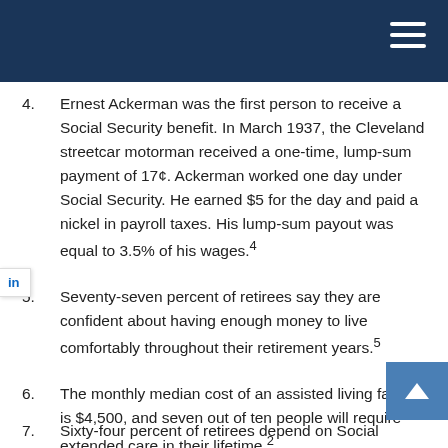4. Ernest Ackerman was the first person to receive a Social Security benefit. In March 1937, the Cleveland streetcar motorman received a one-time, lump-sum payment of 17¢. Ackerman worked one day under Social Security. He earned $5 for the day and paid a nickel in payroll taxes. His lump-sum payout was equal to 3.5% of his wages.4
5. Seventy-seven percent of retirees say they are confident about having enough money to live comfortably throughout their retirement years.5
6. The monthly median cost of an assisted living facility is $4,500, and seven out of ten people will require extended care in their lifetime.2
7. Sixty-four percent of retirees depend on Social